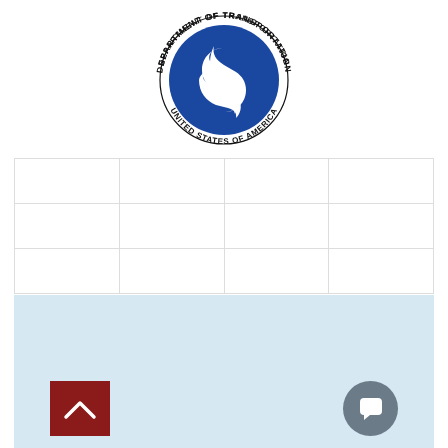[Figure (logo): U.S. Department of Transportation circular seal/logo — blue circular emblem with white swoosh/triskele symbol in the center, surrounded by text reading 'DEPARTMENT OF TRANSPORTATION' on top and 'UNITED STATES OF AMERICA' on bottom, in black text on white ring.]
|  |  |  |  |
|  |  |  |  |
|  |  |  |  |
[Figure (other): Light blue rectangular panel/section below the table grid, containing a dark red square button with a white upward-pointing chevron/caret arrow on the lower left, and a dark grey circular chat/message bubble button on the lower right.]